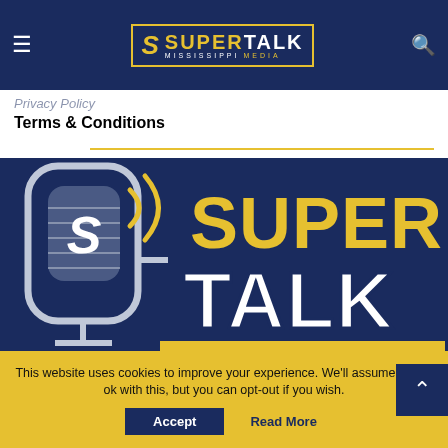SuperTalk Mississippi Media
Privacy Policy
Terms & Conditions
[Figure (logo): SuperTalk Mississippi Media logo — microphone icon with SUPER in gold and TALK in white on navy background]
This website uses cookies to improve your experience. We'll assume you're ok with this, but you can opt-out if you wish. Accept Read More